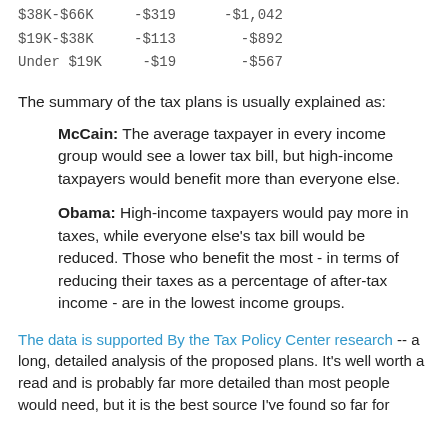| Income Group | McCain | Obama |
| --- | --- | --- |
| $38K-$66K | -$319 | -$1,042 |
| $19K-$38K | -$113 | -$892 |
| Under $19K | -$19 | -$567 |
The summary of the tax plans is usually explained as:
McCain: The average taxpayer in every income group would see a lower tax bill, but high-income taxpayers would benefit more than everyone else.
Obama: High-income taxpayers would pay more in taxes, while everyone else's tax bill would be reduced. Those who benefit the most - in terms of reducing their taxes as a percentage of after-tax income - are in the lowest income groups.
The data is supported By the Tax Policy Center research -- a long, detailed analysis of the proposed plans. It's well worth a read and is probably far more detailed than most people would need, but it is the best source I've found so far for